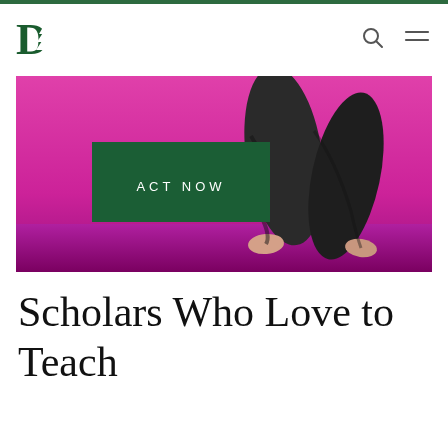Dartmouth College navigation header with logo, search icon, and menu icon
[Figure (photo): A dancer or performer shot from the waist down, wearing dark loose pants, dancing barefoot on a bright magenta/pink stage floor against a vivid pink/purple background. An 'ACT NOW' button overlay appears on the left side of the image.]
Scholars Who Love to Teach